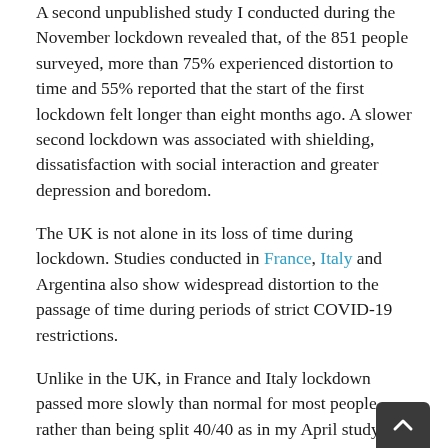A second unpublished study I conducted during the November lockdown revealed that, of the 851 people surveyed, more than 75% experienced distortion to time and 55% reported that the start of the first lockdown felt longer than eight months ago. A slower second lockdown was associated with shielding, dissatisfaction with social interaction and greater depression and boredom.
The UK is not alone in its loss of time during lockdown. Studies conducted in France, Italy and Argentina also show widespread distortion to the passage of time during periods of strict COVID-19 restrictions.
Unlike in the UK, in France and Italy lockdown passed more slowly than normal for most people rather than being split 40/40 as in my April study. As in the UK, however, boredom was an important predictor of time slowing down in Italy and in France. In France, time also passed more slowly with increasing sadness.
Emotions and Time